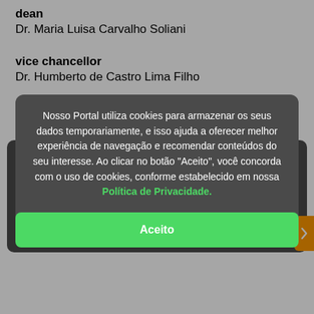dean
Dr. Maria Luisa Carvalho Soliani
vice chancellor
Dr. Humberto de Castro Lima Filho
GENERAL COORDINATOR
Prof. Maria Luisa Carvalho Celias
COORDINATOR BOARD
President
Ademario Galvão Spinola
Vice
Maria Thereza Oliva Marcilio de Souza
Nosso Portal utiliza cookies para armazenar os seus dados temporariamente, e isso ajuda a oferecer melhor experiência de navegação e recomendar conteúdos do seu interesse. Ao clicar no botão "Aceito", você concorda com o uso de cookies, conforme estabelecido em nossa Política de Privacidade.
Aceito